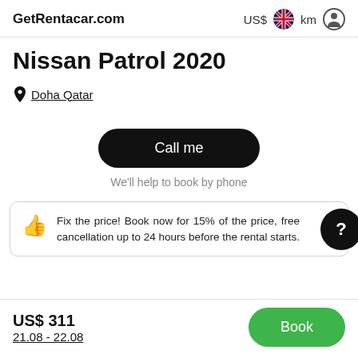GetRentacar.com  US$  km
Nissan Patrol 2020
Doha Qatar
Call me
We'll help to book by phone
Fix the price! Book now for 15% of the price, free cancellation up to 24 hours before the rental starts.
US$ 311
21.08 - 22.08
Book